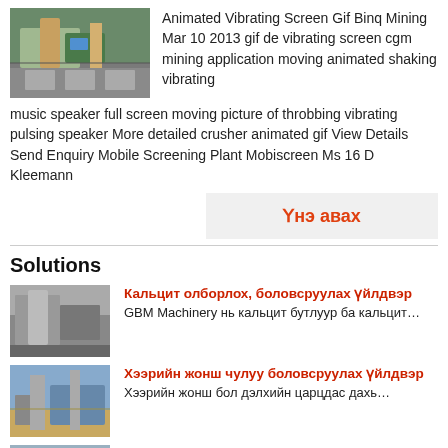[Figure (photo): Aerial view of mining/screening machinery equipment outdoors]
Animated Vibrating Screen Gif Binq Mining Mar 10 2013 gif de vibrating screen cgm mining application moving animated shaking vibrating music speaker full screen moving picture of throbbing vibrating pulsing speaker More detailed crusher animated gif View Details Send Enquiry Mobile Screening Plant Mobiscreen Ms 16 D Kleemann
Үнэ авах
Solutions
[Figure (photo): Industrial calcite mining and processing facility building]
Кальцит олборлох, боловсруулах үйлдвэр
GBM Machinery нь кальцит бутлуур ба кальцит…
[Figure (photo): Desert rock crushing and processing plant]
Хээрийн жонш чулуу боловсруулах үйлдвэр
Хээрийн жонш бол дэлхийн царцдас дахь…
[Figure (photo): Manganese processing plant conveyor machinery]
Марганец боловсруулах үйлдвэр